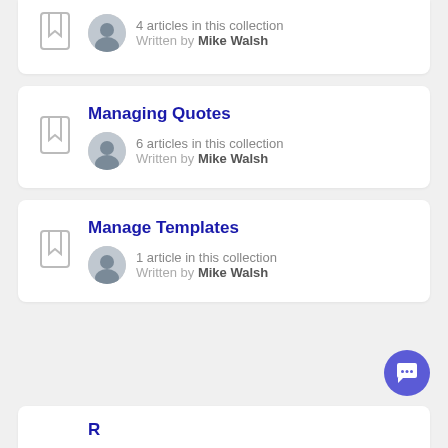4 articles in this collection
Written by Mike Walsh
Managing Quotes
6 articles in this collection
Written by Mike Walsh
Manage Templates
1 article in this collection
Written by Mike Walsh
R...